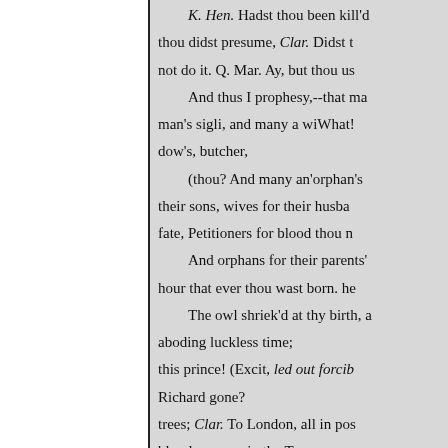K. Hen. Hadst thou been kill'd thou didst presume, Clar. Didst not do it. Q. Mar. Ay, but thou us And thus I prophesy,--that man's sigli, and many a wiWhat! dow's, butcher, (thou? And many an'orphan's their sons, wives for their husbands fate, Petitioners for blood thou n And orphans for their parents' hour that ever thou wast born. he The owl shriek'd at thy birth, a aboding luckless time; this prince! (Excit, led out forcib Richard gone? trees; Clar. To London, all in pos bloody supper in the Tower. And chattering pies in dismal